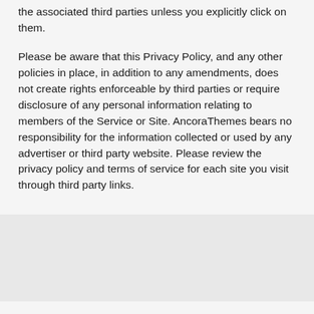the associated third parties unless you explicitly click on them.
Please be aware that this Privacy Policy, and any other policies in place, in addition to any amendments, does not create rights enforceable by third parties or require disclosure of any personal information relating to members of the Service or Site. AncoraThemes bears no responsibility for the information collected or used by any advertiser or third party website. Please review the privacy policy and terms of service for each site you visit through third party links.